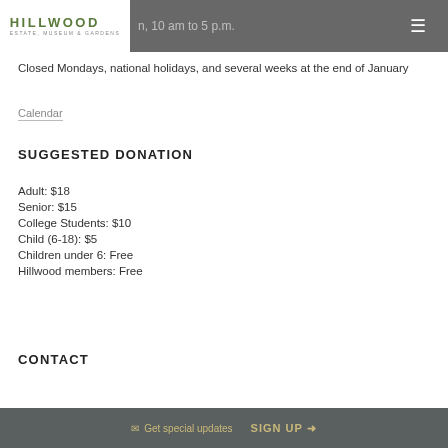Hillwood Estate, Museum & Gardens — navigation bar
Closed Mondays, national holidays, and several weeks at the end of January
Calendar
SUGGESTED DONATION
Adult: $18
Senior: $15
College Students: $10
Child (6-18): $5
Children under 6: Free
Hillwood members: Free
CONTACT
✉ Get special updates   SIGN UP →